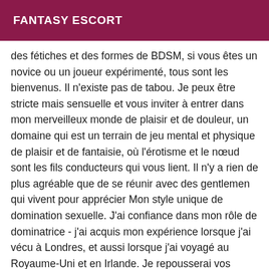FANTASY ESCORT
des fétiches et des formes de BDSM, si vous êtes un novice ou un joueur expérimenté, tous sont les bienvenus. Il n'existe pas de tabou. Je peux être stricte mais sensuelle et vous inviter à entrer dans mon merveilleux monde de plaisir et de douleur, un domaine qui est un terrain de jeu mental et physique de plaisir et de fantaisie, où l'érotisme et le nœud sont les fils conducteurs qui vous lient. Il n'y a rien de plus agréable que de se réunir avec des gentlemen qui vivent pour apprécier Mon style unique de domination sexuelle. J'ai confiance dans mon rôle de dominatrice - j'ai acquis mon expérience lorsque j'ai vécu à Londres, et aussi lorsque j'ai voyagé au Royaume-Uni et en Irlande. Je repousserai vos limites : subtilement, délicatement, sournoisement ou brutalement, selon les besoins. Je suis polyvalente - un excellent juge de caractère, adaptable et capable de lire et de réagir à une situation en un instant. Je peux être méchante et cruelle, ou